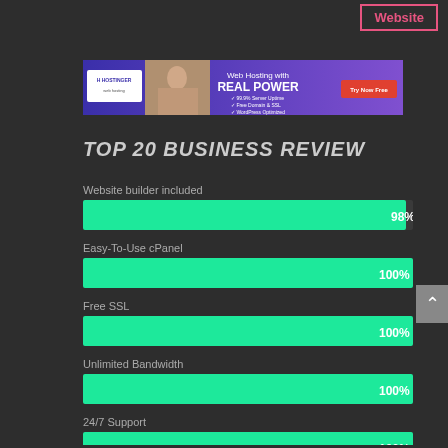Website
[Figure (photo): Hostinger web hosting advertisement banner with purple gradient background, person at laptop, text 'Web Hosting with REAL POWER', checklist items and Try Now Free button]
TOP 20 BUSINESS REVIEW
[Figure (bar-chart): TOP 20 BUSINESS REVIEW]